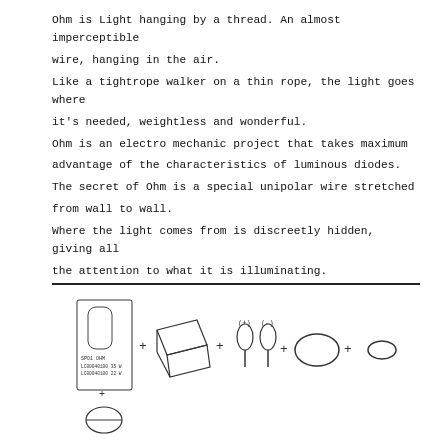Ohm is Light hanging by a thread. An almost imperceptible wire, hanging in the air.
Like a tightrope walker on a thin rope, the light goes where it's needed, weightless and wonderful.
Ohm is an electro mechanic project that takes maximum advantage of the characteristics of luminous diodes.
The secret of Ohm is a special unipolar wire stretched from wall to wall.
Where the light comes from is discreetly hidden, giving all the attention to what it is illuminating.
[Figure (engineering-diagram): Exploded assembly diagram of Ohm light fixture components: a cylindrical lamp unit with part numbers (SPO1 OHM, LC00040100 35 W, LC00040100 22 W), plus a square transformer/driver module, plus two wire connectors with (+) and (-) labels, plus a circular ring element, plus a small oval element. Shown with plus signs between components.]